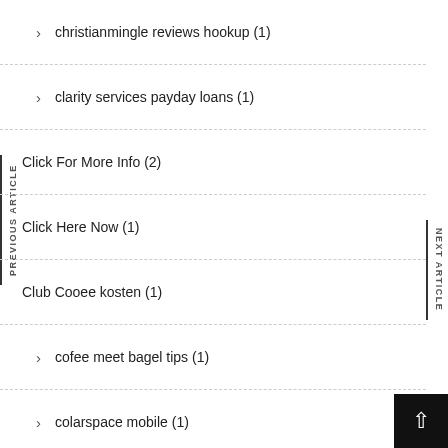christianmingle reviews hookup (1)
clarity services payday loans (1)
Click For More Info (2)
Click Here Now (1)
Club Cooee kosten (1)
cofee meet bagel tips (1)
colarspace mobile (1)
collarspace app (1)